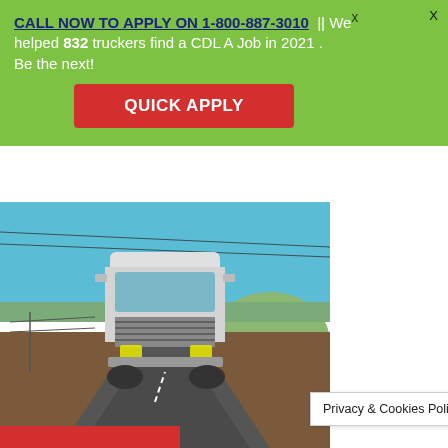CALL NOW TO APPLY ON 1-800-887-3010 || We helped 832 truckers find a CDL A Job in 2021 . Be the next!
QUICK APPLY
[Figure (photo): A white semi-truck / 18-wheeler driving on a highway road toward the camera, with blue sky, trees, and a hill in the background.]
Privacy & Cookies Policy